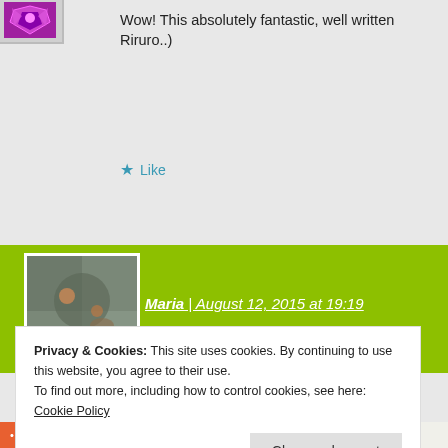Wow! This absolutely fantastic, well written Riruro..)
Like
Maria | August 12, 2015 at 19:19
Awwww thank you Beverley 🙂
Like
Privacy & Cookies: This site uses cookies. By continuing to use this website, you agree to their use.
To find out more, including how to control cookies, see here: Cookie Policy
Close and accept